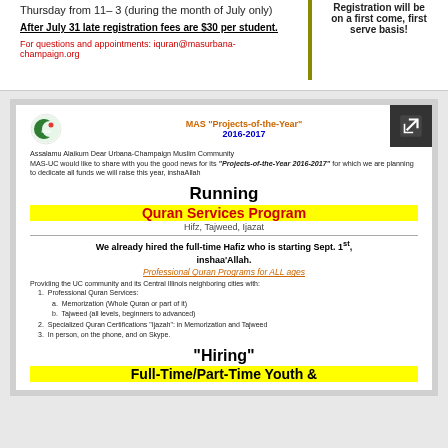Thursday from 11– 3 (during the month of July only)
Registration will be on a first come, first serve basis!
After July 31  late registration fees are $30 per student.
For questions and appointments: iquran@masurbana-champaign.org
[Figure (other): MAS logo - green crescent with MAS text]
MAS "Projects-of-the-Year" 2016-2017
Assalamu Alaikum Dear Urbana-Champaign Muslim Community MAS-UC would like to share with you the good news for its "Projects-of-the-Year 2016-2017" for which we are planning to dedicate all funds we will raise this year, inshaAllah
Running
Quran Services Program
Hifz, Tajweed, Ijazat
We already hired the full-time Hafiz who is starting Sept. 1st, inshaa'Allah.
Professional Quran Programs for ALL ages
Providing the UC community and its Central Illinois neighboring cities with:
1. Professional Quran Services:
a. Memorization (Whole Quran or part of it)
b. Tajweed (all levels, beginners to advanced)
2. Specialized Quran Certifications "Ijazah": in Memorization and Tajweed
3. In person, on the phone, and on Skype.
"Hiring"
Full-Time/Part-Time Youth &